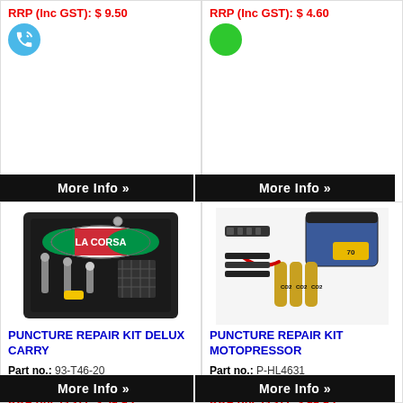RRP (Inc GST): $ 9.50
[Figure (illustration): Blue phone/call icon circle]
More Info »
RRP (Inc GST): $ 4.60
[Figure (illustration): Green circle icon]
More Info »
[Figure (photo): La Corsa puncture repair kit deluxe carry - packaged product with valve cores and tools]
PUNCTURE REPAIR KIT DELUX CARRY
Part no.: 93-T46-20
Unit: EACH
RRP (Inc GST): $ 59.95
[Figure (illustration): Green circle icon]
More Info »
[Figure (photo): Puncture repair kit motopressor - includes CO2 cartridges, hose, multi-tool, and blue pouch]
PUNCTURE REPAIR KIT MOTOPRESSOR
Part no.: P-HL4631
Unit: Each
RRP (Inc GST): $ 99.95
[Figure (illustration): Green circle icon]
More Info »